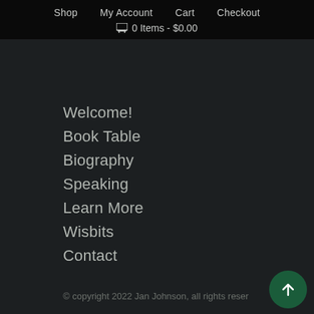Shop   My Account   Cart   Checkout
🛒 0 Items - $0.00
Welcome!
Book Table
Biography
Speaking
Learn More
Wisbits
Contact
© copyright 2022 Jan Johnson, all rights reser